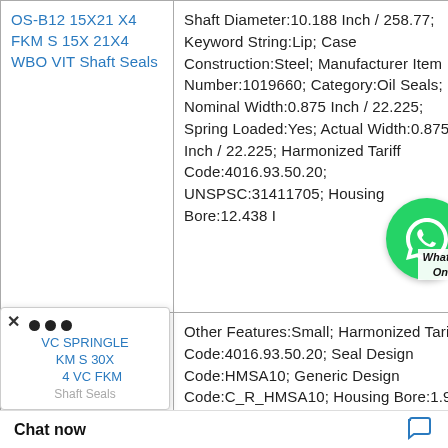| Product | Description |
| --- | --- |
| OS-B12 15X21 X4 FKM S 15X 21X4 WBO VIT Shaft Seals | Shaft Diameter:10.188 Inch / 258.77; Keyword String:Lip; Case Construction:Steel; Manufacturer Item Number:1019660; Category:Oil Seals; Nominal Width:0.875 Inch / 22.225; Spring Loaded:Yes; Actual Width:0.875 Inch / 22.225; Harmonized Tariff Code:4016.93.50.20; UNSPSC:31411705; Housing Bore:12.438 I |
| VC SPRINGLE KM S 30X 4 VC FKM Shaft Seals | Other Features:Small; Harmonized Tariff Code:4016.93.50.20; Seal Design Code:HMSA10; Generic Design Code:C_R_HMSA10; Housing Bore:1.969 Inch / 50 Mill; Weight / Kilogram:0.016; Noun:Seal; Manufacturer Name:SKF; Type of Seal:Oil Seal; ...d:Yes; Inch - Metri ...ight / LBS:0.036; |
[Figure (other): WhatsApp Online chat bubble overlay in bottom-right area of first row]
[Figure (other): Popup overlay with close button and dots menu at bottom-left, showing product name partially visible]
Chat now